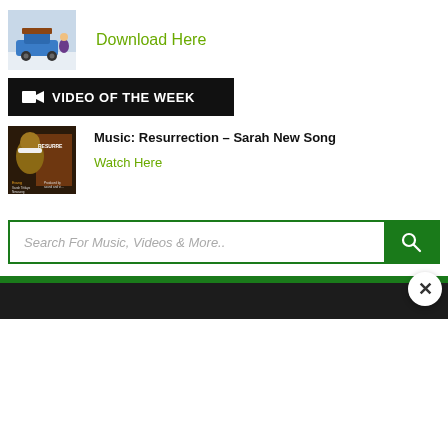[Figure (photo): Thumbnail image of a person standing outside in snow near a car with luggage on roof]
Download Here
[Figure (other): Black banner with film reel icon and text VIDEO OF THE WEEK]
[Figure (photo): Video thumbnail showing a person with text RESURRECTION and credits for Sarah Titilayo Newsong]
Music: Resurrection – Sarah New Song
Watch Here
Search For Music, Videos & More..